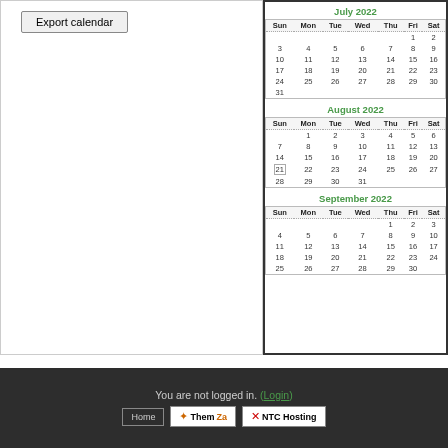[Figure (other): Export calendar button - a button with text 'Export calendar']
[Figure (table-as-image): Calendar widget showing July 2022, August 2022, and September 2022 months with day grids. Sundays and Saturdays highlighted in red. August 21 shown with a box border (today). Month titles in green.]
You are not logged in. (Login)
Home  ThemZa  NTC Hosting